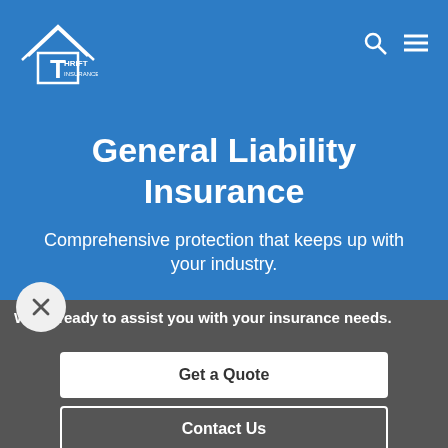[Figure (logo): Thrift Insurance logo — house/roof outline with large T inside, text THRIFT INSURANCE beside it]
General Liability Insurance
Comprehensive protection that keeps up with your industry.
We're ready to assist you with your insurance needs.
Get a Quote
Contact Us